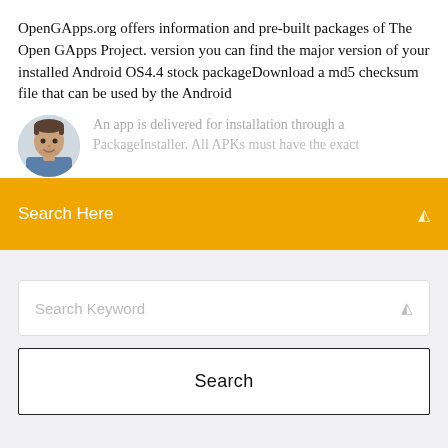OpenGApps.org offers information and pre-built packages of The Open GApps Project. version you can find the major version of your installed Android OS4.4 stock packageDownload a md5 checksum file that can be used by the Android
[Figure (photo): Circular avatar/profile photo of a man]
An app is delivered for installation through a
PackageInstaller. All APKs must have the exact
Search Here
Search Keyword
Search